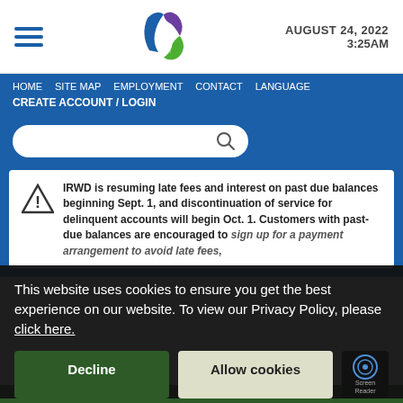[Figure (logo): IRWD logo with blue, purple, and green stylized leaf/water shapes]
AUGUST 24, 2022
3:25AM
HOME  SITE MAP  EMPLOYMENT  CONTACT  LANGUAGE
CREATE ACCOUNT / LOGIN
[Figure (screenshot): Search bar with magnifying glass icon on blue background]
IRWD is resuming late fees and interest on past due balances beginning Sept. 1, and discontinuation of service for delinquent accounts will begin Oct. 1. Customers with past-due balances are encouraged to sign up for a payment arrangement to avoid late fees,
This website uses cookies to ensure you get the best experience on our website. To view our Privacy Policy, please click here.
Decline
Allow cookies